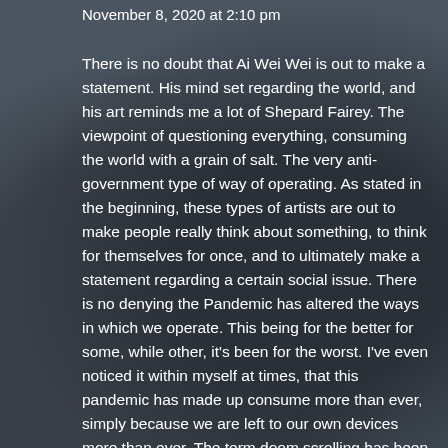November 8, 2020 at 2:10 pm
There is no doubt that Ai Wei Wei is out to make a statement. His mind set regarding the world, and his art reminds me a lot of Shepard Fairey. The viewpoint of questioning everything, consuming the world with a grain of salt. The very anti-government type of way of operating. As stated in the beginning, these types of artists are out to make people really think about something, to think for themselves for once, and to ultimately make a statement regarding a certain social issue. There is no denying the Pandemic has altered the ways in which we operate. This being for the better for some, while other, it’s been for the worst. I’ve even noticed it within myself at times, that this pandemic has made up consume more than ever, simply because we are left to our own devices more than ever. The term doom scrolling has been popping up more and more recently and this is exactly were people have come to fault. Over